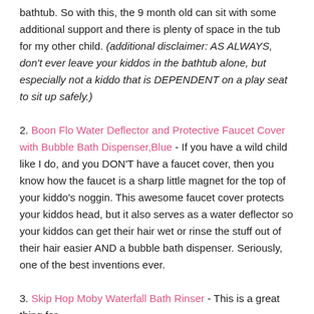bathtub. So with this, the 9 month old can sit with some additional support and there is plenty of space in the tub for my other child. (additional disclaimer: AS ALWAYS, don't ever leave your kiddos in the bathtub alone, but especially not a kiddo that is DEPENDENT on a play seat to sit up safely.)
2. Boon Flo Water Deflector and Protective Faucet Cover with Bubble Bath Dispenser,Blue - If you have a wild child like I do, and you DON'T have a faucet cover, then you know how the faucet is a sharp little magnet for the top of your kiddo's noggin. This awesome faucet cover protects your kiddos head, but it also serves as a water deflector so your kiddos can get their hair wet or rinse the stuff out of their hair easier AND a bubble bath dispenser. Seriously, one of the best inventions ever.
3. Skip Hop Moby Waterfall Bath Rinser - This is a great thing for